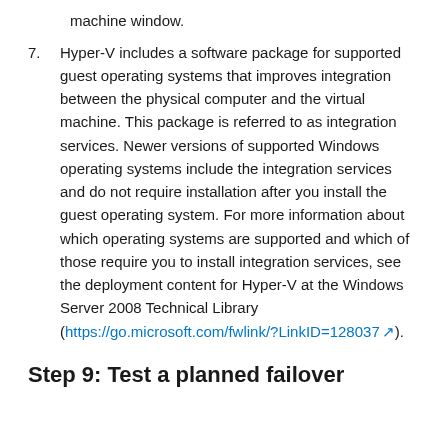machine window.
7. Hyper-V includes a software package for supported guest operating systems that improves integration between the physical computer and the virtual machine. This package is referred to as integration services. Newer versions of supported Windows operating systems include the integration services and do not require installation after you install the guest operating system. For more information about which operating systems are supported and which of those require you to install integration services, see the deployment content for Hyper-V at the Windows Server 2008 Technical Library (https://go.microsoft.com/fwlink/?LinkID=128037 ).
Step 9: Test a planned failover